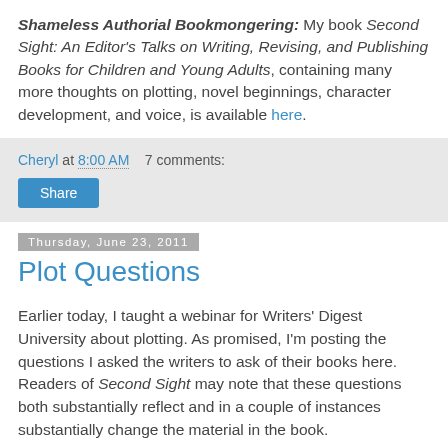Shameless Authorial Bookmongering: My book Second Sight: An Editor's Talks on Writing, Revising, and Publishing Books for Children and Young Adults, containing many more thoughts on plotting, novel beginnings, character development, and voice, is available here.
Cheryl at 8:00 AM    7 comments:
Share
Thursday, June 23, 2011
Plot Questions
Earlier today, I taught a webinar for Writers' Digest University about plotting. As promised, I'm posting the questions I asked the writers to ask of their books here. Readers of Second Sight may note that these questions both substantially reflect and in a couple of instances substantially change the material in the book.